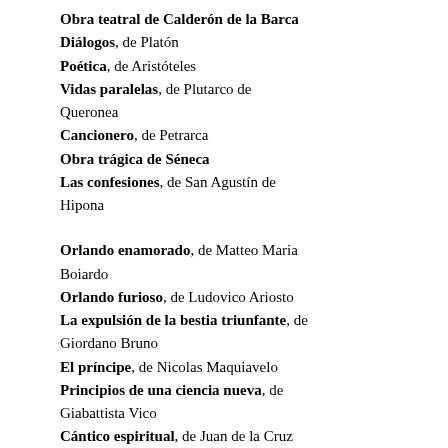Obra teatral de Calderón de la Barca
Diálogos, de Platón
Poética, de Aristóteles
Vidas paralelas, de Plutarco de Queronea
Cancionero, de Petrarca
Obra trágica de Séneca
Las confesiones, de San Agustín de Hipona
Orlando enamorado, de Matteo Maria Boiardo
Orlando furioso, de Ludovico Ariosto
La expulsión de la bestia triunfante, de Giordano Bruno
El príncipe, de Nicolas Maquiavelo
Principios de una ciencia nueva, de Giabattista Vico
Cántico espiritual, de Juan de la Cruz